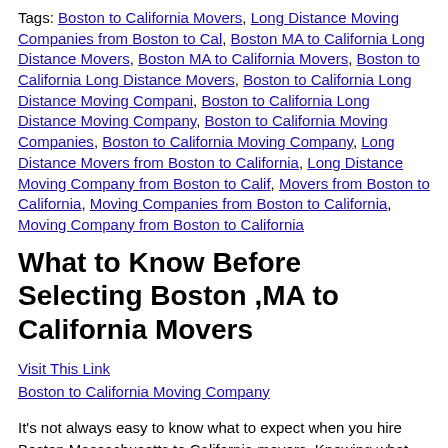Tags: Boston to California Movers, Long Distance Moving Companies from Boston to Cal, Boston MA to California Long Distance Movers, Boston MA to California Movers, Boston to California Long Distance Movers, Boston to California Long Distance Moving Compani, Boston to California Long Distance Moving Company, Boston to California Moving Companies, Boston to California Moving Company, Long Distance Movers from Boston to California, Long Distance Moving Company from Boston to Calif, Movers from Boston to California, Moving Companies from Boston to California, Moving Company from Boston to California
What to Know Before Selecting Boston ,MA to California Movers
Visit This Link
Boston to California Moving Company
It's not always easy to know what to expect when you hire Boston Massachusetts to California movers. Knowing what things to expect is half the battle, right? So here is a quick run down on which to expect from your own moving company. Things to